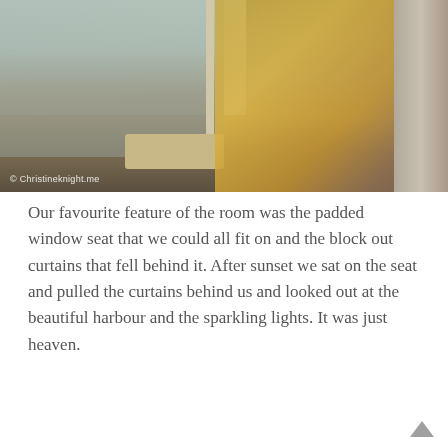[Figure (photo): Photo of children sitting on a padded window seat in a hotel room with a view over Sydney. A watermark reads '© Christineknight.me'.]
Our favourite feature of the room was the padded window seat that we could all fit on and the block out curtains that fell behind it. After sunset we sat on the seat and pulled the curtains behind us and looked out at the beautiful harbour and the sparkling lights. It was just heaven.
[Figure (photo): Photo of a woman and child looking out a hotel window at the Sydney Opera House and harbour, with curtains framing the window.]